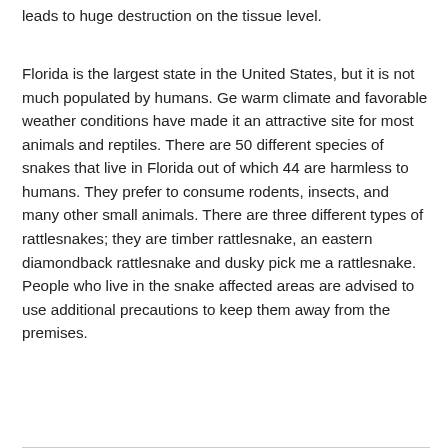leads to huge destruction on the tissue level.
Florida is the largest state in the United States, but it is not much populated by humans. Ge warm climate and favorable weather conditions have made it an attractive site for most animals and reptiles. There are 50 different species of snakes that live in Florida out of which 44 are harmless to humans. They prefer to consume rodents, insects, and many other small animals. There are three different types of rattlesnakes; they are timber rattlesnake, an eastern diamondback rattlesnake and dusky pick me a rattlesnake. People who live in the snake affected areas are advised to use additional precautions to keep them away from the premises.